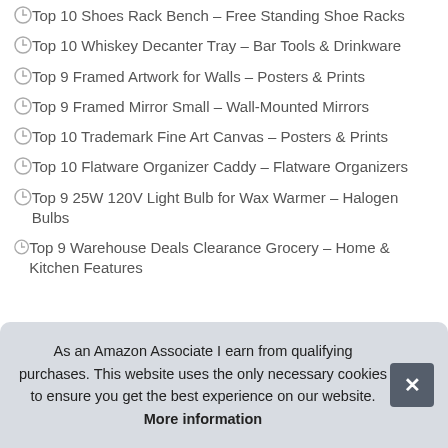Top 10 Shoes Rack Bench – Free Standing Shoe Racks
Top 10 Whiskey Decanter Tray – Bar Tools & Drinkware
Top 9 Framed Artwork for Walls – Posters & Prints
Top 9 Framed Mirror Small – Wall-Mounted Mirrors
Top 10 Trademark Fine Art Canvas – Posters & Prints
Top 10 Flatware Organizer Caddy – Flatware Organizers
Top 9 25W 120V Light Bulb for Wax Warmer – Halogen Bulbs
Top 9 Warehouse Deals Clearance Grocery – Home & Kitchen Features
As an Amazon Associate I earn from qualifying purchases. This website uses the only necessary cookies to ensure you get the best experience on our website. More information